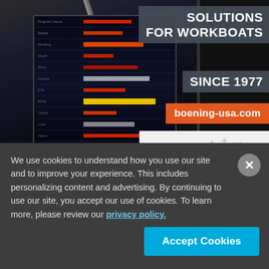[Figure (photo): Advertisement for Böning Ship Automation showing a marine navigation/automation screen display with the text 'SOLUTIONS FOR WORKBOATS SINCE 1977' and 'boening-usa.com', alongside the Böning logo and caption '18m Wind Farm Vessel']
18m Wind Farm Vessel
We use cookies to understand how you use our site and to improve your experience. This includes personalizing content and advertising. By continuing to use our site, you accept our use of cookies. To learn more, please review our privacy policy.
Accept Cookies